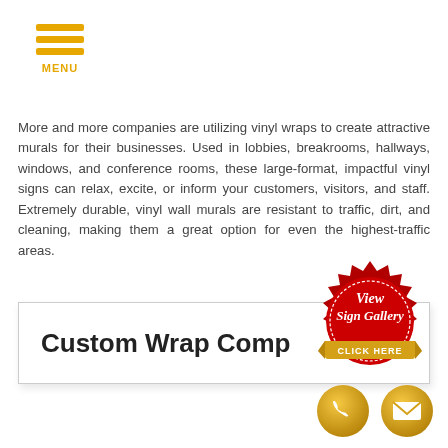MENU
More and more companies are utilizing vinyl wraps to create attractive murals for their businesses. Used in lobbies, breakrooms, hallways, windows, and conference rooms, these large-format, impactful vinyl signs can relax, excite, or inform your customers, visitors, and staff. Extremely durable, vinyl wall murals are resistant to traffic, dirt, and cleaning, making them a great option for even the highest-traffic areas.
Custom Wrap Comp...
[Figure (illustration): Red wax seal badge with gold ribbon banner. Text reads 'View Sign Gallery' in script and 'CLICK HERE' on the gold ribbon.]
[Figure (illustration): Two circular gold icons: a phone handset icon and an envelope/email icon.]